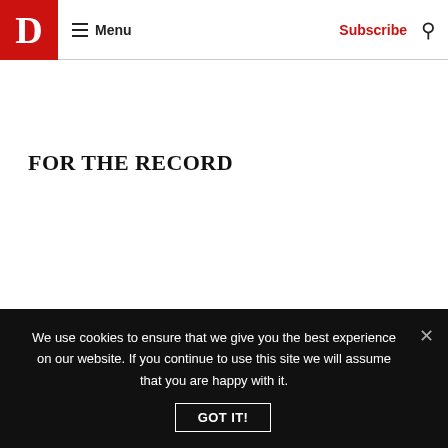D Magazine — Menu | Subscribe | Search
FOR THE RECORD
COURTHOUSE CONVERSION
We use cookies to ensure that we give you the best experience on our website. If you continue to use this site we will assume that you are happy with it.
GOT IT!